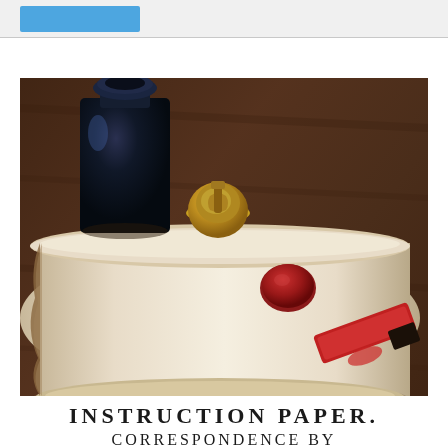[Figure (photo): A rolled parchment scroll with a red wax seal, next to a dark blue ink bottle and a gold wax seal stamp, all resting on a dark wooden surface. A red sealing wax stick is visible in the lower right.]
Instruction Paper.
Correspondence by...